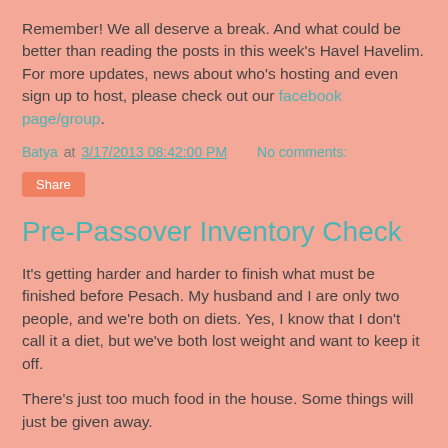Remember!  We all deserve a break.  And what could be better than reading the posts in this week's Havel Havelim.  For more updates, news about who's hosting and even sign up to host, please check out our facebook page/group.
Batya at 3/17/2013 08:42:00 PM   No comments:
Share
Pre-Passover Inventory Check
It's getting harder and harder to finish what must be finished before Pesach.  My husband and I are only two people, and we're both on diets.  Yes, I know that I don't call it a diet, but we've both lost weight and want to keep it off.
There's just too much food in the house.  Some things will just be given away.
At least the freezer emptying is going ok.  It's actually